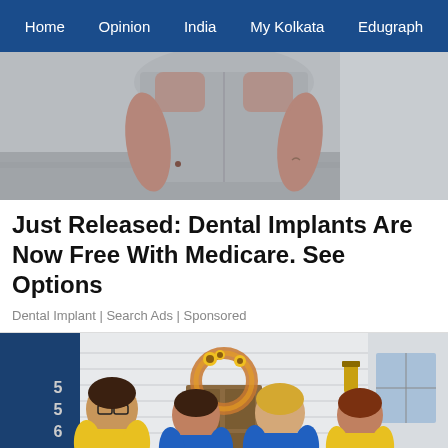Home | Opinion | India | My Kolkata | Edugraph
[Figure (photo): Cropped torso of a person in a light gray top, standing outdoors on a sidewalk]
Just Released: Dental Implants Are Now Free With Medicare. See Options
Dental Implant | Search Ads | Sponsored
[Figure (photo): Four women in blue and yellow polo shirts standing in front of a house with a floral wreath on the door, holding cleaning supplies]
TT | my | edu | HORSE RACING